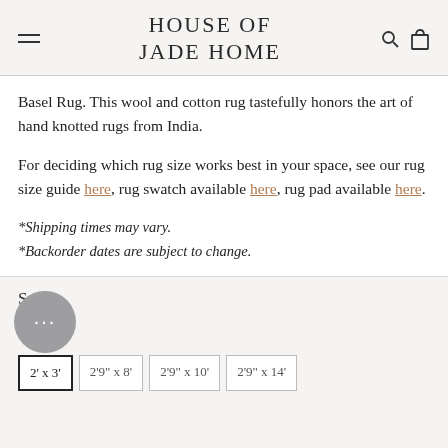HOUSE OF JADE HOME
Basel Rug. This wool and cotton rug tastefully honors the art of hand knotted rugs from India.
For deciding which rug size works best in your space, see our rug size guide here, rug swatch available here, rug pad available here.
*Shipping times may vary.
*Backorder dates are subject to change.
SIZE
2' x 3'	2'9" x 8'	2'9" x 10'	2'9" x 14'